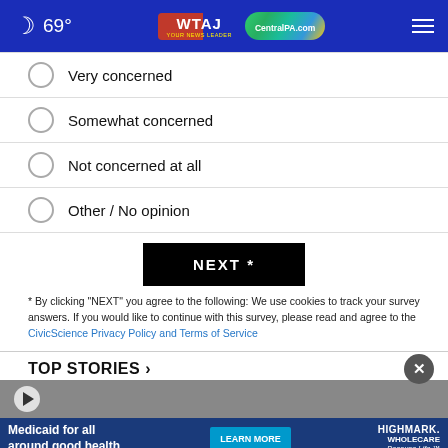69° WTAJ CentralPA.com
Very concerned
Somewhat concerned
Not concerned at all
Other / No opinion
NEXT *
* By clicking "NEXT" you agree to the following: We use cookies to track your survey answers. If you would like to continue with this survey, please read and agree to the CivicScience Privacy Policy and Terms of Service
TOP STORIES ›
[Figure (screenshot): Advertisement banner: Medicaid for all around good health. LEARN MORE button. HIGHMARK WHOLECARE Because Life.]